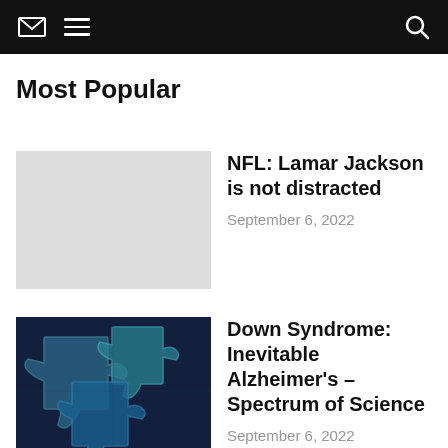Navigation bar with envelope icon, hamburger menu, and search icon
Most Popular
NFL: Lamar Jackson is not distracted
September 6, 2022
[Figure (photo): Puzzle pieces on dark blue background]
Down Syndrome: Inevitable Alzheimer's – Spectrum of Science
September 6, 2022